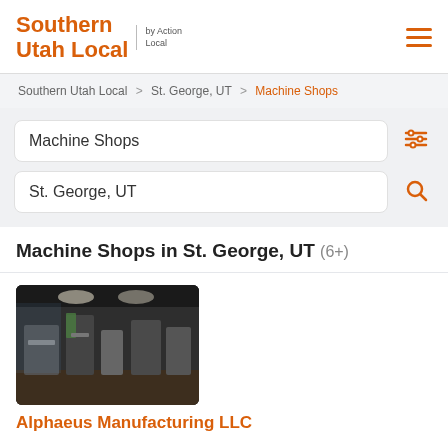Southern Utah Local | by Action Local
Southern Utah Local > St. George, UT > Machine Shops
Machine Shops
St. George, UT
Machine Shops in St. George, UT (6+)
[Figure (photo): Interior of a machine shop showing equipment and industrial machinery]
Alphaeus Manufacturing LLC